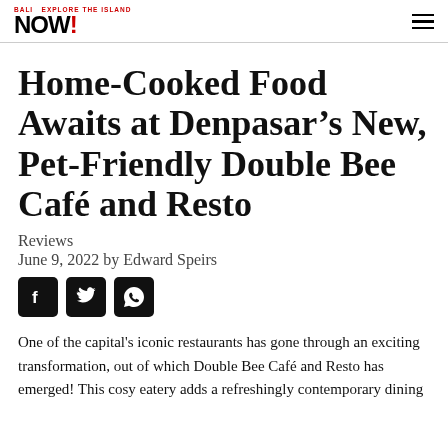BALI NOW!
Home-Cooked Food Awaits at Denpasar’s New, Pet-Friendly Double Bee Café and Resto
Reviews
June 9, 2022 by Edward Speirs
[Figure (other): Social media share icons: Facebook, Twitter, WhatsApp]
One of the capital’s iconic restaurants has gone through an exciting transformation, out of which Double Bee Café and Resto has emerged! This cosy eatery adds a refreshingly contemporary dining